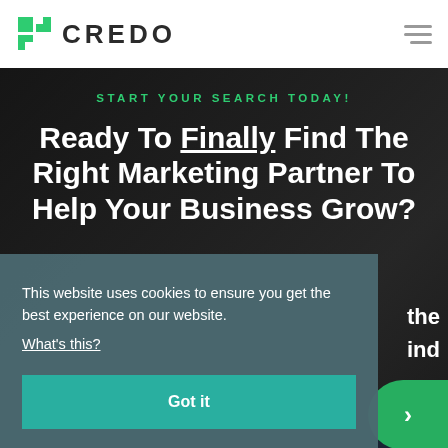[Figure (logo): Credo logo with green geometric icon and text CREDO]
CREDO
START YOUR SEARCH TODAY!
Ready To Finally Find The Right Marketing Partner To Help Your Business Grow?
This website uses cookies to ensure you get the best experience on our website. What's this?
Got it